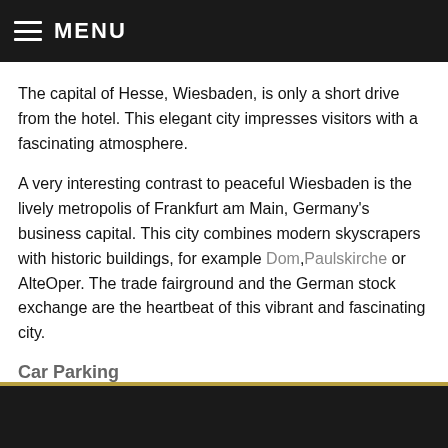MENU
The capital of Hesse, Wiesbaden, is only a short drive from the hotel. This elegant city impresses visitors with a fascinating atmosphere.
A very interesting contrast to peaceful Wiesbaden is the lively metropolis of Frankfurt am Main, Germany's business capital. This city combines modern skyscrapers with historic buildings, for example Dom, Paulskirche or AlteOper. The trade fairground and the German stock exchange are the heartbeat of this vibrant and fascinating city.
Car Parking
Do you have any questions regarding your reservation or our hotel? We are always happy to assist you!